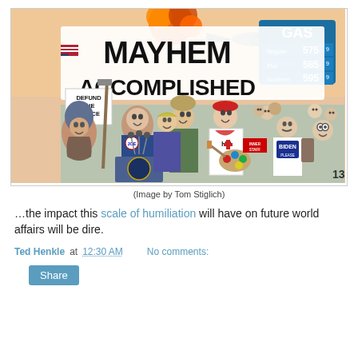[Figure (illustration): Political cartoon by Tom Stiglich titled 'Mayhem Accomplished'. Shows caricatures of political figures at a podium with 'JOE' button, protesters with 'Defund the Police' sign, a figure in a 'HB' lab coat holding a paint palette, a person with 'BIDEN PLEASE LET US IN!' shirt, a gas price sign showing Regular 575, Plus 585, Supreme 595, an explosion and military aircraft in the background.]
(Image by Tom Stiglich)
…the impact this scale of humiliation will have on future world affairs will be dire.
Ted Henkle at 12:30 AM    No comments:
Share